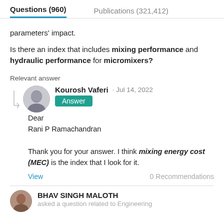Questions (960)    Publications (321,412)
parameters' impact.
Is there an index that includes mixing performance and hydraulic performance for micromixers?
Relevant answer
Kourosh Vaferi · Jul 14, 2022
Answer
Dear
Rani P Ramachandran

Thank you for your answer. I think mixing energy cost (MEC) is the index that I look for it.

View    0 Recommendations
BHAV SINGH MALOTH
asked a question related to Engineering